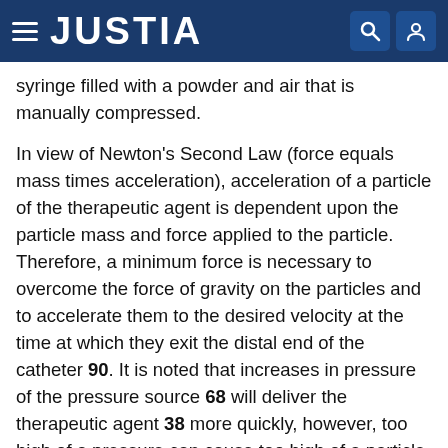JUSTIA
syringe filled with a powder and air that is manually compressed.
In view of Newton's Second Law (force equals mass times acceleration), acceleration of a particle of the therapeutic agent is dependent upon the particle mass and force applied to the particle. Therefore, a minimum force is necessary to overcome the force of gravity on the particles and to accelerate them to the desired velocity at the time at which they exit the distal end of the catheter 90. It is noted that increases in pressure of the pressure source 68 will deliver the therapeutic agent 38 more quickly, however, too high of a pressure can cause too high of a particle velocity and subsequently aerosolization.
There is a relationship between particle size, particle